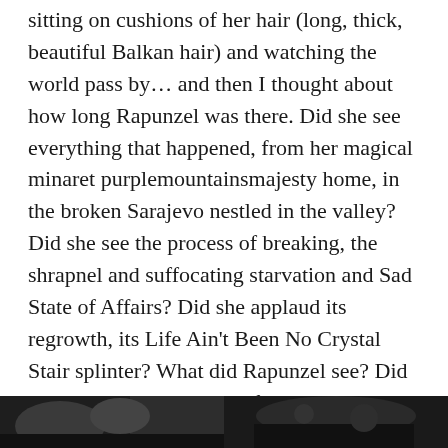sitting on cushions of her hair (long, thick, beautiful Balkan hair) and watching the world pass by… and then I thought about how long Rapunzel was there. Did she see everything that happened, from her magical minaret purplemountainsmajesty home, in the broken Sarajevo nestled in the valley? Did she see the process of breaking, the shrapnel and suffocating starvation and Sad State of Affairs? Did she applaud its regrowth, its Life Ain't Been No Crystal Stair splinter? What did Rapunzel see? Did she thank Mother Gothel for keeping her from that pain, or did she curse Mother Gothel from keeping her from that collective experience? After coffee we headed to the stadium for the game, a good mile-long walk (or more), upon which we found this wrought-iron gate (I feel like it was wrought from a poem, not iron), that reminded me of everything magical:
[Figure (photo): Two partial photos side by side at the bottom of the page, showing outdoor scenes, mostly dark/silhouetted]